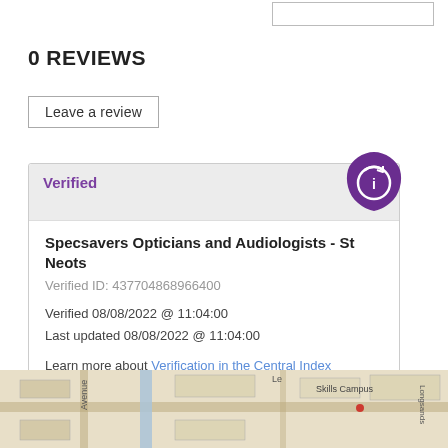0 REVIEWS
Leave a review
Verified
Specsavers Opticians and Audiologists - St Neots
Verified ID: 437704868966400
Verified 08/08/2022 @ 11:04:00
Last updated 08/08/2022 @ 11:04:00
Learn more about Verification in the Central Index
[Figure (map): Street map showing local area with roads, St Neots Skills Campus label, and Avenue label visible.]